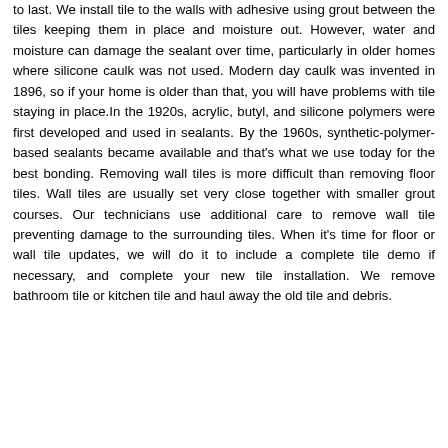to last. We install tile to the walls with adhesive using grout between the tiles keeping them in place and moisture out. However, water and moisture can damage the sealant over time, particularly in older homes where silicone caulk was not used. Modern day caulk was invented in 1896, so if your home is older than that, you will have problems with tile staying in place.In the 1920s, acrylic, butyl, and silicone polymers were first developed and used in sealants. By the 1960s, synthetic-polymer-based sealants became available and that's what we use today for the best bonding. Removing wall tiles is more difficult than removing floor tiles. Wall tiles are usually set very close together with smaller grout courses. Our technicians use additional care to remove wall tile preventing damage to the surrounding tiles. When it's time for floor or wall tile updates, we will do it to include a complete tile demo if necessary, and complete your new tile installation. We remove bathroom tile or kitchen tile and haul away the old tile and debris.
Reply